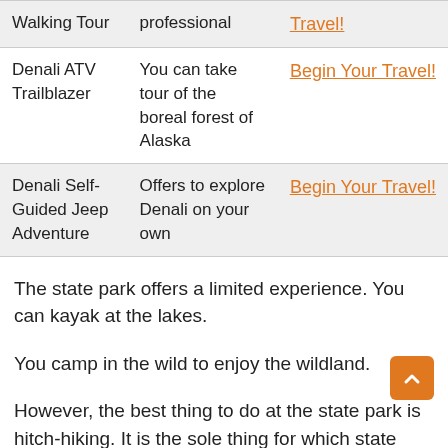| Walking Tour | professional | Travel! |
| Denali ATV Trailblazer | You can take tour of the boreal forest of Alaska | Begin Your Travel! |
| Denali Self-Guided Jeep Adventure | Offers to explore Denali on your own | Begin Your Travel! |
The state park offers a limited experience. You can kayak at the lakes.
You camp in the wild to enjoy the wildland.
However, the best thing to do at the state park is hitch-hiking. It is the sole thing for which state parks get most of their visitors.
Literally, people start their hiking just from the